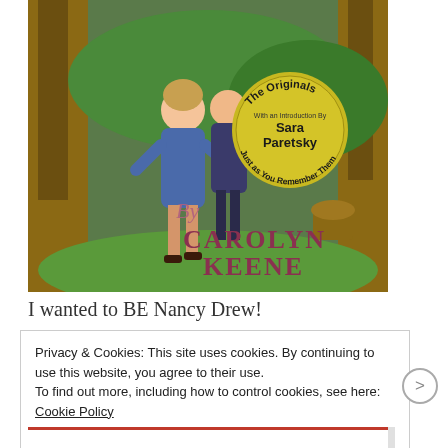[Figure (illustration): Book cover illustration of Nancy Drew: shows two figures running through a forest scene, with a circular badge reading 'The Originals - With an Introduction By Sara Paretsky - Just as You Remember Them', and text 'By CAROLYN KEENE' in stylized lettering at the bottom right.]
I wanted to BE Nancy Drew!
Privacy & Cookies: This site uses cookies. By continuing to use this website, you agree to their use.
To find out more, including how to control cookies, see here: Cookie Policy
Close and accept